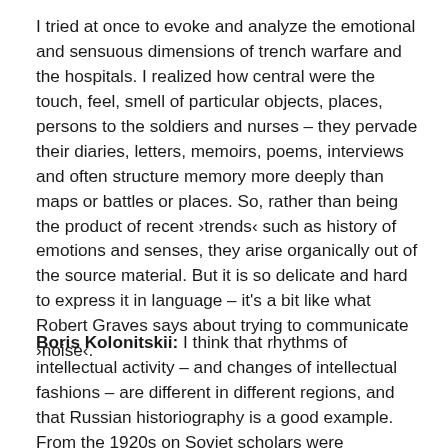I tried at once to evoke and analyze the emotional and sensuous dimensions of trench warfare and the hospitals. I realized how central were the touch, feel, smell of particular objects, places, persons to the soldiers and nurses – they pervade their diaries, letters, memoirs, poems, interviews and often structure memory more deeply than maps or battles or places. So, rather than being the product of recent ›trends‹ such as history of emotions and senses, they arise organically out of the source material. But it is so delicate and hard to express it in language – it's a bit like what Robert Graves says about trying to communicate ›noise‹.
Boris Kolonitskii: I think that rhythms of intellectual activity – and changes of intellectual fashions – are different in different regions, and that Russian historiography is a good example. From the 1920s on Soviet scholars were